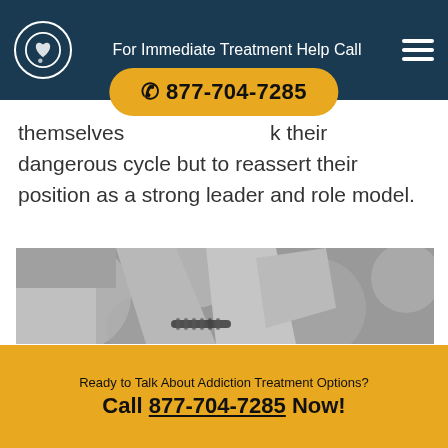For Immediate Treatment Help Call
themselves ... k their dangerous cycle but to reassert their position as a strong leader and role model.
[Figure (photo): Black and white photograph of two people holding hands, one wearing a beaded bracelet, with a blurred bokeh background.]
Ready to Talk About Addiction Treatment Options? Call 877-704-7285 Now!